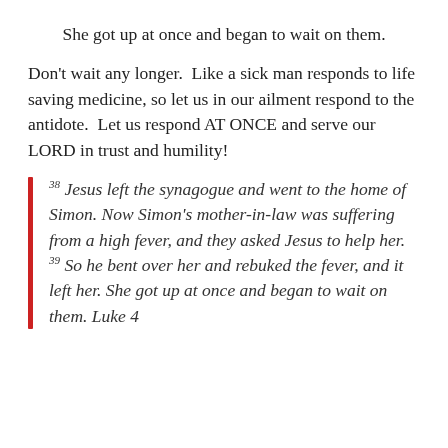She got up at once and began to wait on them.
Don't wait any longer.  Like a sick man responds to life saving medicine, so let us in our ailment respond to the antidote.  Let us respond AT ONCE and serve our LORD in trust and humility!
38 Jesus left the synagogue and went to the home of Simon. Now Simon's mother-in-law was suffering from a high fever, and they asked Jesus to help her. 39 So he bent over her and rebuked the fever, and it left her. She got up at once and began to wait on them. Luke 4